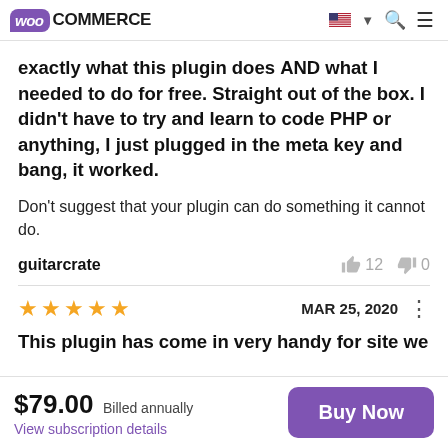[Figure (screenshot): WooCommerce website header with logo, US flag, search and menu icons]
exactly what this plugin does AND what I needed to do for free. Straight out of the box. I didn't have to try and learn to code PHP or anything, I just plugged in the meta key and bang, it worked.
Don't suggest that your plugin can do something it cannot do.
guitarcrate   👍 12   👎 0
★★★★★   MAR 25, 2020   ⋮
This plugin has come in very handy for site we
$79.00  Billed annually
View subscription details
Buy Now